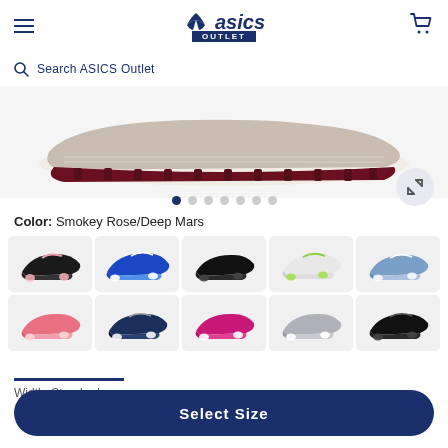ASICS OUTLET
Search ASICS Outlet
[Figure (photo): Close-up bottom/sole view of an ASICS running shoe in Smokey Rose/Deep Mars colorway, showing white midsole and dark red outsole]
Color: Smokey Rose/Deep Mars
[Figure (photo): Grid of 10 ASICS running shoe color variants: black/pink, blue/royal, black, white/green, blue/grey (top row); pink/rose, navy, magenta/pink, grey, black (bottom row)]
Width: Standard
Select Size